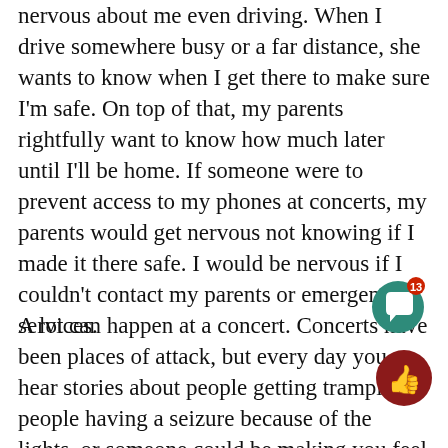nervous about me even driving. When I drive somewhere busy or a far distance, she wants to know when I get there to make sure I'm safe. On top of that, my parents rightfully want to know how much later until I'll be home. If someone were to prevent access to my phones at concerts, my parents would get nervous not knowing if I made it there safe. I would be nervous if I couldn't contact my parents or emergency services.
A lot can happen at a concert. Concerts have been places of attack, but every day you hear stories about people getting trampled, people having a seizure because of the lights, or someone could be making you feel uncomfortable and unsafe. I've been to so many concerts, and I've seen all of thi happen. By depriving me of my phone during on of these events, I automatically lose that elemen security and safety I crave during these stressful